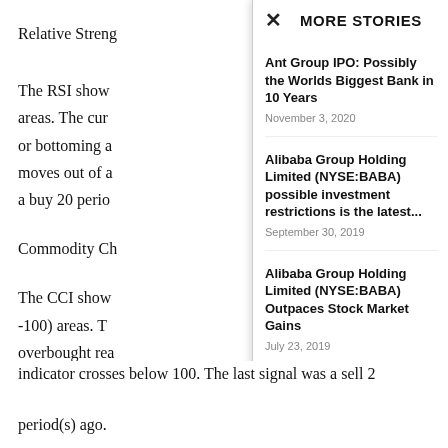Relative Streng...
The RSI show... areas. The cur... or bottoming a... moves out of a... a buy 20 perio...
Commodity Ch...
The CCI show... -100) areas. Th... overbought rea...
MORE STORIES
Ant Group IPO: Possibly the Worlds Biggest Bank in 10 Years
November 3, 2020
Alibaba Group Holding Limited (NYSE:BABA) possible investment restrictions is the latest...
September 30, 2019
Alibaba Group Holding Limited (NYSE:BABA) Outpaces Stock Market Gains
July 23, 2019
indicator crosses below 100. The last signal was a sell 2 period(s) ago.